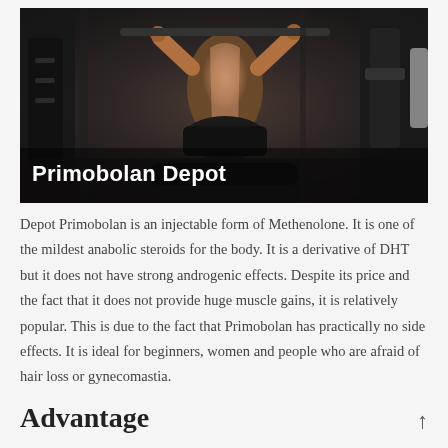[Figure (photo): A muscular woman working out at a gym machine, photographed from behind, in athletic wear. Dark gym background with equipment visible. Text overlay 'Primobolan Depot' in white bold font at bottom left.]
Depot Primobolan is an injectable form of Methenolone. It is one of the mildest anabolic steroids for the body. It is a derivative of DHT but it does not have strong androgenic effects. Despite its price and the fact that it does not provide huge muscle gains, it is relatively popular. This is due to the fact that Primobolan has practically no side effects. It is ideal for beginners, women and people who are afraid of hair loss or gynecomastia.
Advantage